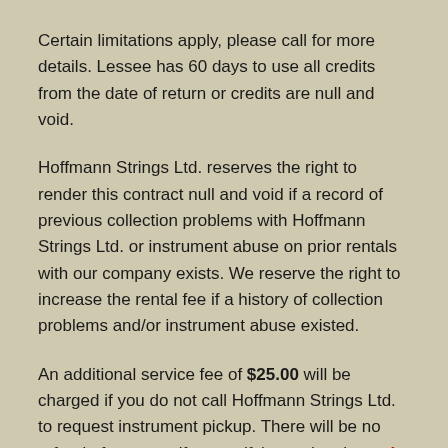Certain limitations apply, please call for more details. Lessee has 60 days to use all credits from the date of return or credits are null and void.
Hoffmann Strings Ltd. reserves the right to render this contract null and void if a record of previous collection problems with Hoffmann Strings Ltd. or instrument abuse on prior rentals with our company exists. We reserve the right to increase the rental fee if a history of collection problems and/or instrument abuse existed.
An additional service fee of $25.00 will be charged if you do not call Hoffmann Strings Ltd. to request instrument pickup. There will be no refund of any type if not notifying us by phone. It is the lessee's